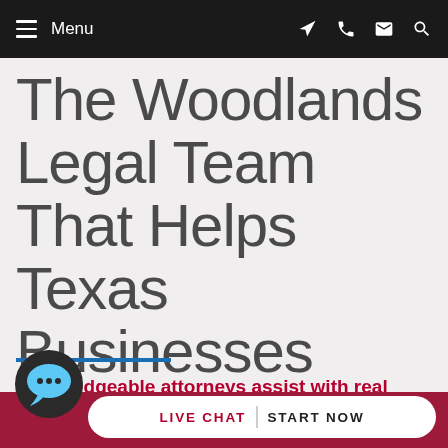Menu
The Woodlands Legal Team That Helps Texas Businesses Succeed
Knowledgeable attorneys assist with real estate, energy and litigation issues
In our c...ive...ts.
LIVE CHAT   START NOW